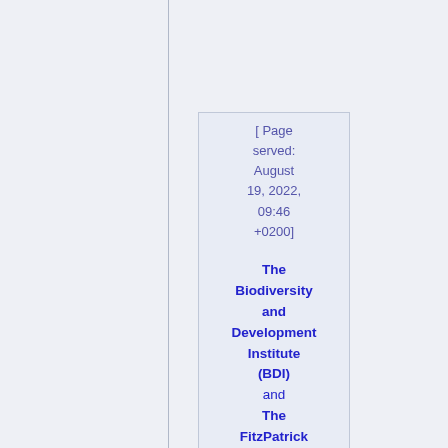[ Page served: August 19, 2022, 09:46 +0200]
The Biodiversity and Development Institute (BDI) and The FitzPatrick Institute of African Ornithology